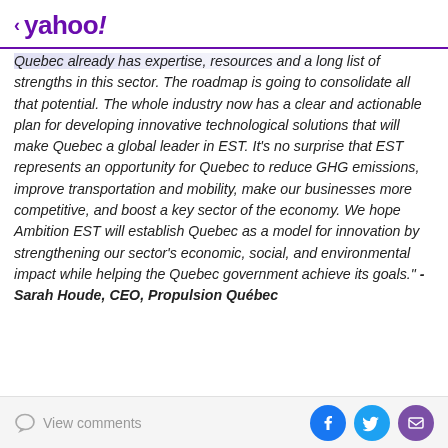< yahoo!
Quebec already has expertise, resources and a long list of strengths in this sector. The roadmap is going to consolidate all that potential. The whole industry now has a clear and actionable plan for developing innovative technological solutions that will make Quebec a global leader in EST. It's no surprise that EST represents an opportunity for Quebec to reduce GHG emissions, improve transportation and mobility, make our businesses more competitive, and boost a key sector of the economy. We hope Ambition EST will establish Quebec as a model for innovation by strengthening our sector's economic, social, and environmental impact while helping the Quebec government achieve its goals." - Sarah Houde, CEO, Propulsion Québec
View comments